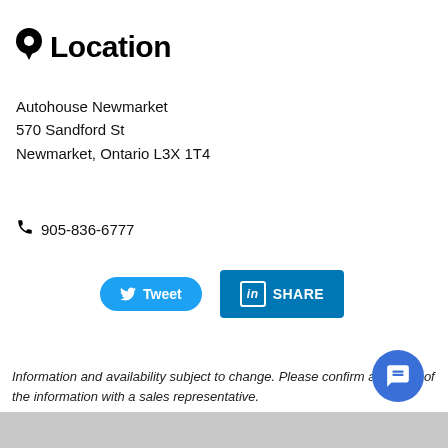📍 Location
Autohouse Newmarket
570 Sandford St
Newmarket, Ontario L3X 1T4
📞 905-836-6777
[Figure (other): Tweet button (Twitter/X) and LinkedIn Share button]
Information and availability subject to change. Please confirm accuracy of the information with a sales representative.
[Figure (other): Blue chat/messaging floating action button in bottom right corner]